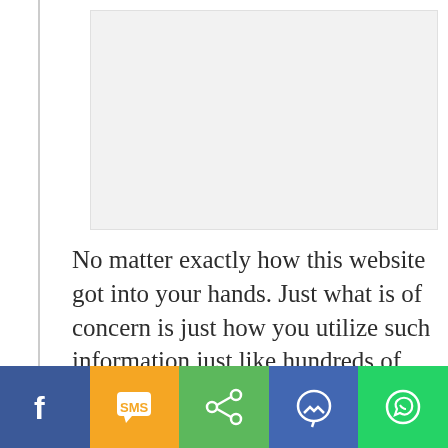[Figure (other): Gray advertisement placeholder box]
No matter exactly how this website got into your hands. Just what is of concern is just how you utilize such information just like hundreds of others that have become immune to HPV
[Figure (other): Social media share bar with Facebook, SMS, Share, Messenger, and WhatsApp buttons]